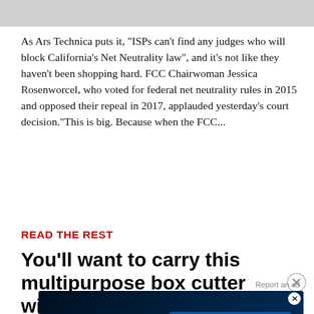[Figure (photo): Partial top edge of an image, cropped — appears to show a red object against a grey/white background.]
As Ars Technica puts it, "ISPs can't find any judges who will block California's Net Neutrality law", and it's not like they haven't been shopping hard. FCC Chairwoman Jessica Rosenworcel, who voted for federal net neutrality rules in 2015 and opposed their repeal in 2017, applauded yesterday's court decision."This is big. Because when the FCC...
READ THE REST
You'll want to carry this multipurpose box cutter with you everywhere you go
Report an ad
[Figure (screenshot): Disney Bundle advertisement banner showing Hulu, Disney+, and ESPN+ logos with a blue 'GET THE DISNEY BUNDLE' call-to-action button and fine print text.]